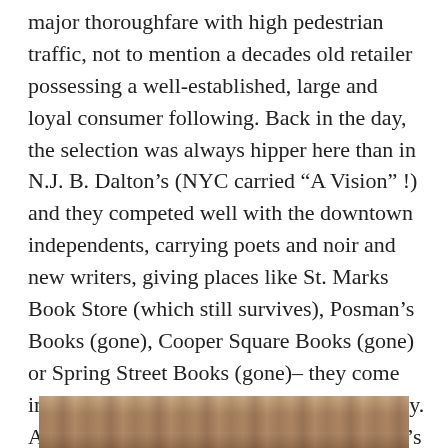major thoroughfare with high pedestrian traffic, not to mention a decades old retailer possessing a well-established, large and loyal consumer following. Back in the day, the selection was always hipper here than in N.J. B. Dalton's (NYC carried “A Vision” !) and they competed well with the downtown independents, carrying poets and noir and new writers, giving places like St. Marks Book Store (which still survives), Posman’s Books (gone), Cooper Square Books (gone) or Spring Street Books (gone)– they come immediately to mind – a run for their money. As the neighborhood changed, the children’s section expanded, much to the joy of the new Village moms and dads in need of a convenient place to take the kids and pass on a love of reading. The decimation of book stores seems to have ended with Borders closing – this year a new store actually opened in Jersey City! – there have been no reports of further consolidation by Barnes & Noble. Why is the Barnes & Noble on 6th& 8th closing?
[Figure (photo): Partial photo strip visible at the bottom of the page, showing a cropped image with warm brown tones.]